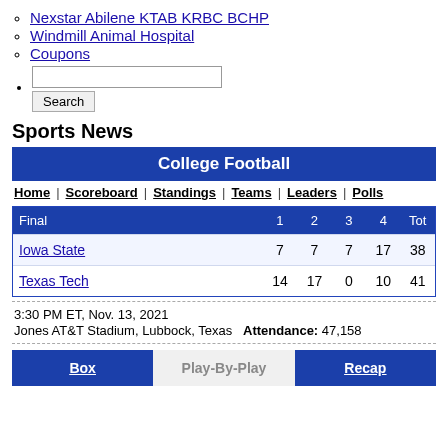Nexstar Abilene KTAB KRBC BCHP
Windmill Animal Hospital
Coupons
[Search input and Search button]
Sports News
| Final | 1 | 2 | 3 | 4 | Tot |
| --- | --- | --- | --- | --- | --- |
| Iowa State | 7 | 7 | 7 | 17 | 38 |
| Texas Tech | 14 | 17 | 0 | 10 | 41 |
3:30 PM ET, Nov. 13, 2021
Jones AT&T Stadium, Lubbock, Texas  Attendance: 47,158
Box | Play-By-Play | Recap